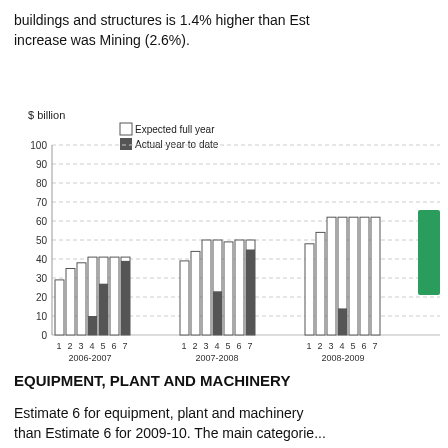buildings and structures is 1.4% higher than Est... increase was Mining (2.6%).
[Figure (grouped-bar-chart): $ billion]
EQUIPMENT, PLANT AND MACHINERY
Estimate 6 for equipment, plant and machinery ... than Estimate 6 for 2009-10. The main categories...